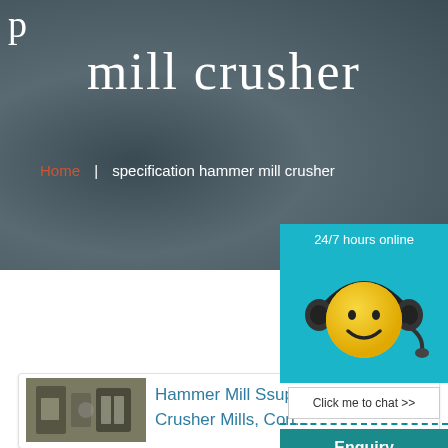p
mill crusher
Home | specification hammer mill crusher
[Figure (illustration): Customer support chat widget with yellow smiley face wearing headset, '24/7 hours online' label, 'Click me to chat >>' button, 'Enquiry' section, and email address starting with superbrian707@g]
[Figure (photo): Photo of hammer mill crusher machinery]
Hammer Mill S superbrian707@g Crusher Mills, Cone...